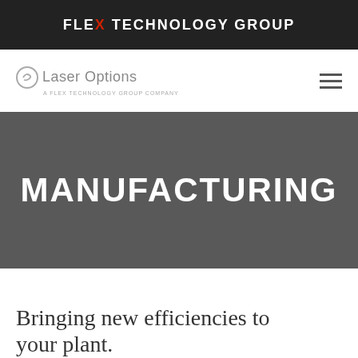FLEX TECHNOLOGY GROUP
[Figure (logo): Laser Options - A FLEX TECHNOLOGY GROUP Company logo with circular icon]
MANUFACTURING
Bringing new efficiencies to your plant.